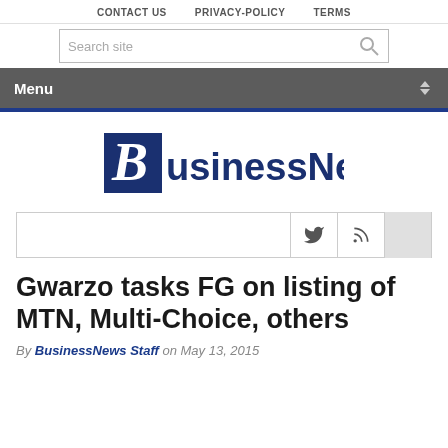CONTACT US   PRIVACY-POLICY   TERMS
[Figure (screenshot): Search site input box with magnifying glass icon]
[Figure (screenshot): Menu navigation bar with dropdown arrow]
[Figure (logo): BusinessNews logo with stylized B in dark blue]
[Figure (screenshot): Social sharing bar with Twitter and RSS icons]
Gwarzo tasks FG on listing of MTN, Multi-Choice, others
By BusinessNews Staff on May 13, 2015